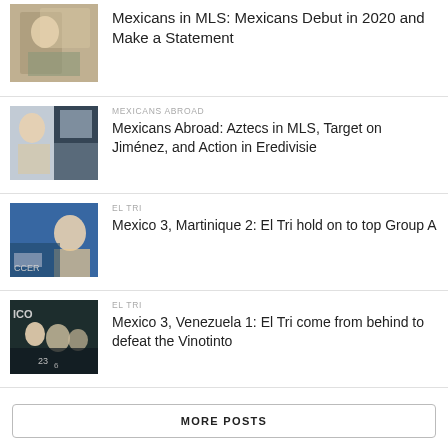[Figure (photo): Soccer player photo thumbnail - top article]
Mexicans in MLS: Mexicans Debut in 2020 and Make a Statement
[Figure (photo): Mexican national team player composite photo thumbnail]
MEXICANS ABROAD
Mexicans Abroad: Aztecs in MLS, Target on Jiménez, and Action in Eredivisie
[Figure (photo): Mexico player celebrating in action photo thumbnail]
EL TRI
Mexico 3, Martinique 2: El Tri hold on to top Group A
[Figure (photo): Mexico team group photo thumbnail]
EL TRI
Mexico 3, Venezuela 1: El Tri come from behind to defeat the Vinotinto
MORE POSTS